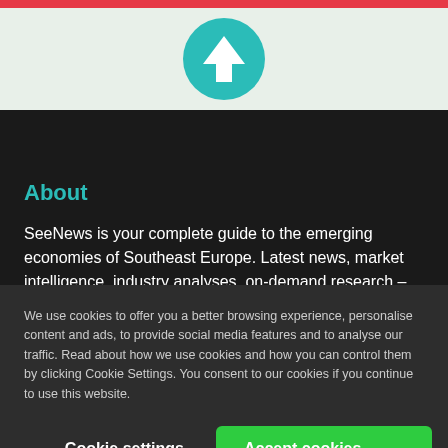[Figure (illustration): Teal circle with white upward arrow icon, centered at top of page]
About
SeeNews is your complete guide to the emerging economies of Southeast Europe. Latest news, market intelligence, industry analyses, on-demand research – the big picture at the tip of your fingers.
See more
We use cookies to offer you a better browsing experience, personalise content and ads, to provide social media features and to analyse our traffic. Read about how we use cookies and how you can control them by clicking Cookie Settings. You consent to our cookies if you continue to use this website.
Cookie settings
Accept cookies